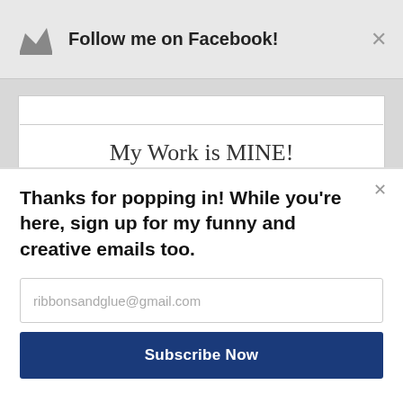Follow me on Facebook!
My Work is MINE!
All content posted on this blog, unless otherwise referenced, is the original work of
Thanks for popping in! While you're here, sign up for my funny and creative emails too.
ribbonsandglue@gmail.com
Subscribe Now